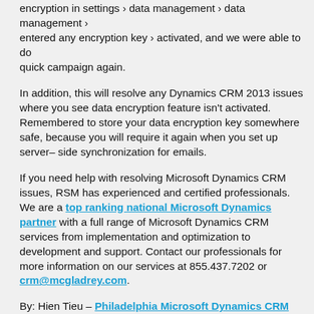After perform the steps above, we tried to deactivate the data encryption in settings › data management › data management › entered any encryption key › activated, and we were able to do quick campaign again.
In addition, this will resolve any Dynamics CRM 2013 issues where you see data encryption feature isn't activated. Remembered to store your data encryption key somewhere safe, because you will require it again when you set up server-side synchronization for emails.
If you need help with resolving Microsoft Dynamics CRM issues, RSM has experienced and certified professionals.  We are a top ranking national Microsoft Dynamics partner with a full range of Microsoft Dynamics CRM services from implementation and optimization to development and support. Contact our professionals for more information on our services at 855.437.7202 or crm@mcgladrey.com.
By: Hien Tieu – Philadelphia Microsoft Dynamics CRM partner